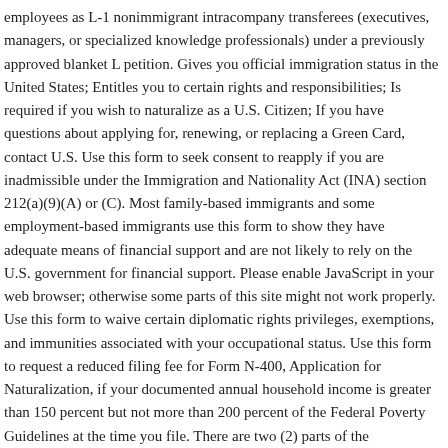employees as L-1 nonimmigrant intracompany transferees (executives, managers, or specialized knowledge professionals) under a previously approved blanket L petition. Gives you official immigration status in the United States; Entitles you to certain rights and responsibilities; Is required if you wish to naturalize as a U.S. Citizen; If you have questions about applying for, renewing, or replacing a Green Card, contact U.S. Use this form to seek consent to reapply if you are inadmissible under the Immigration and Nationality Act (INA) section 212(a)(9)(A) or (C). Most family-based immigrants and some employment-based immigrants use this form to show they have adequate means of financial support and are not likely to rely on the U.S. government for financial support. Please enable JavaScript in your web browser; otherwise some parts of this site might not work properly. Use this form to waive certain diplomatic rights privileges, exemptions, and immunities associated with your occupational status. Use this form to request a reduced filing fee for Form N-400, Application for Naturalization, if your documented annual household income is greater than 150 percent but not more than 200 percent of the Federal Poverty Guidelines at the time you file. There are two (2) parts of the Immigration Form, the Entry Form & the Exit Form. Apply for U.S. citizenship by submitting Form N-400, Application for